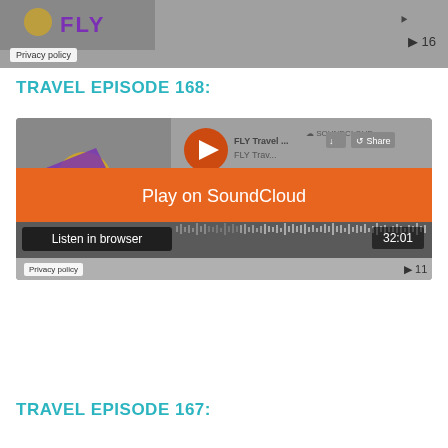[Figure (screenshot): SoundCloud embedded audio player for a FLY Travel episode, showing the FLY logo, privacy policy label, and play count of 16]
TRAVEL EPISODE 168:
[Figure (screenshot): SoundCloud embedded player with orange 'Play on SoundCloud' banner, 'Listen in browser' button, waveform, time 32:01, play count 11, FLY Travel logo, Privacy policy label]
TRAVEL EPISODE 167: